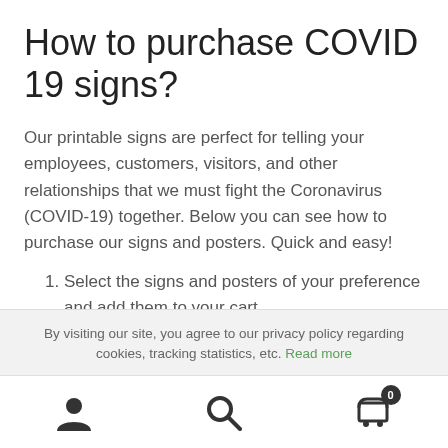How to purchase COVID 19 signs?
Our printable signs are perfect for telling your employees, customers, visitors, and other relationships that we must fight the Coronavirus (COVID-19) together. Below you can see how to purchase our signs and posters. Quick and easy!
Select the signs and posters of your preference and add them to your cart.
Go through the checkout process and make your payment.
By visiting our site, you agree to our privacy policy regarding cookies, tracking statistics, etc. Read more